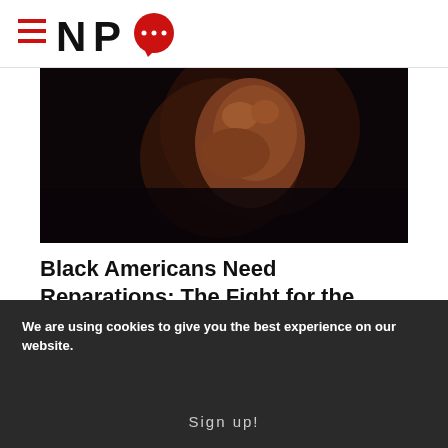NPQ
[Figure (photo): Close-up dark photo of a raised fist against a black background]
Black Americans Need Reparations: The Fight for the CTC...
Jhumpa Bhattacharya and Trevor Smith
[Figure (photo): Partial photo of a street scene with trees and buildings]
We are using cookies to give you the best experience on our website.
Sign up!